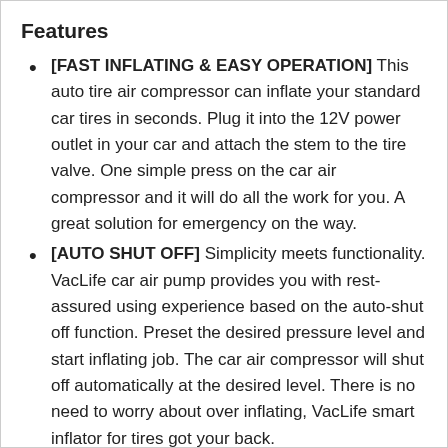Features
[FAST INFLATING & EASY OPERATION] This auto tire air compressor can inflate your standard car tires in seconds. Plug it into the 12V power outlet in your car and attach the stem to the tire valve. One simple press on the car air compressor and it will do all the work for you. A great solution for emergency on the way.
[AUTO SHUT OFF] Simplicity meets functionality. VacLife car air pump provides you with rest-assured using experience based on the auto-shut off function. Preset the desired pressure level and start inflating job. The car air compressor will shut off automatically at the desired level. There is no need to worry about over inflating, VacLife smart inflator for tires got your back.
[LED LIGHTING FOR NIGHT TIME] To be a proper solution for night time inflating job, the electric air pump comes with a LED-lighting feature to support your inflating needs in low-light environment. Coupled with the